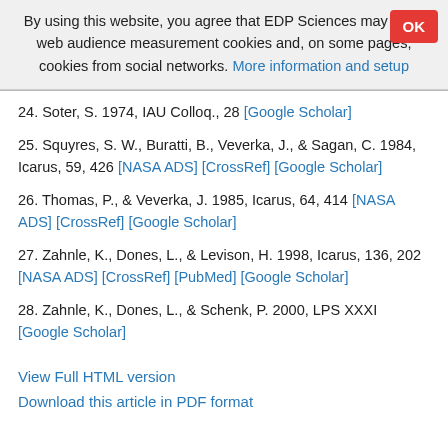By using this website, you agree that EDP Sciences may store web audience measurement cookies and, on some pages, cookies from social networks. More information and setup
24. Soter, S. 1974, IAU Colloq., 28 [Google Scholar]
25. Squyres, S. W., Buratti, B., Veverka, J., & Sagan, C. 1984, Icarus, 59, 426 [NASA ADS] [CrossRef] [Google Scholar]
26. Thomas, P., & Veverka, J. 1985, Icarus, 64, 414 [NASA ADS] [CrossRef] [Google Scholar]
27. Zahnle, K., Dones, L., & Levison, H. 1998, Icarus, 136, 202 [NASA ADS] [CrossRef] [PubMed] [Google Scholar]
28. Zahnle, K., Dones, L., & Schenk, P. 2000, LPS XXXI [Google Scholar]
View Full HTML version
Download this article in PDF format